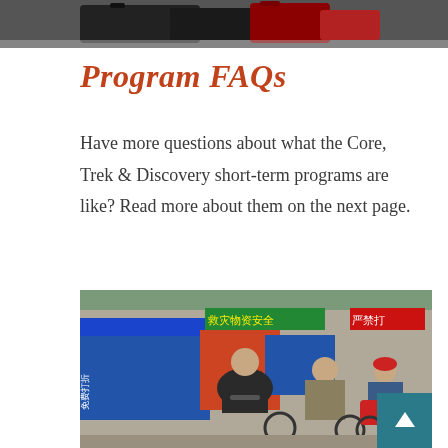[Figure (photo): Top portion of photo showing luggage/bags on a surface]
Program FAQs
Have more questions about what the Core, Trek & Discovery short-term programs are like? Read more about them on the next page.
[Figure (photo): Street scene in China with people on rickshaws and motorcycles, blue tarp stalls and Chinese signage in background]